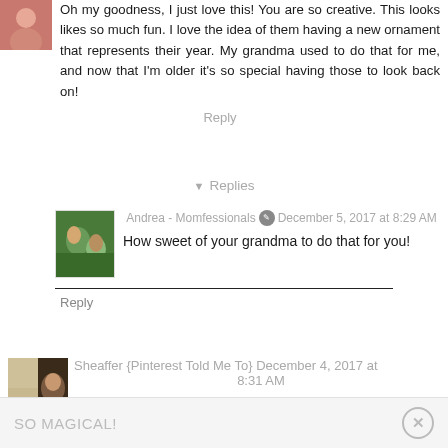Oh my goodness, I just love this! You are so creative. This looks likes so much fun. I love the idea of them having a new ornament that represents their year. My grandma used to do that for me, and now that I'm older it's so special having those to look back on!
Reply
▾ Replies
Andrea - Momfessionals December 5, 2017 at 8:29 AM
How sweet of your grandma to do that for you!
Reply
Sheaffer {Pinterest Told Me To} December 4, 2017 at 8:31 AM
SO MAGICAL!